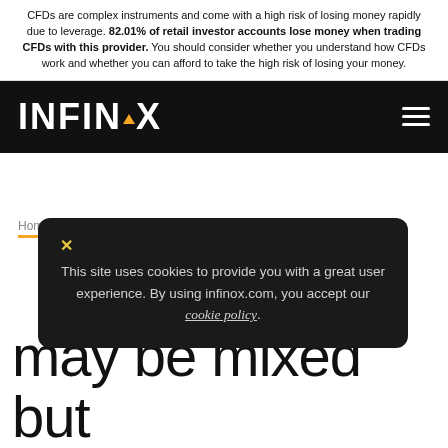CFDs are complex instruments and come with a high risk of losing money rapidly due to leverage. 82.01% of retail investor accounts lose money when trading CFDs with this provider. You should consider whether you understand how CFDs work and whether you can afford to take the high risk of losing your money.
[Figure (logo): INFINOX logo in white on black navigation bar with hamburger menu icon on the right]
Home / IX Intel / Outlook for Indian markets mixed but...
This site uses cookies to provide you with a great user experience. By using infinox.com, you accept our cookie policy.
may be mixed but